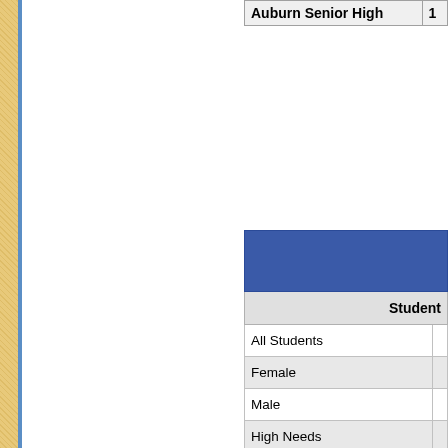| School |  |
| --- | --- |
| Auburn Senior High | 1 |
|  | Student |
| --- | --- |
| All Students |  |
| Female |  |
| Male |  |
| High Needs |  |
| Low Income |  |
| Students with disabilities |  |
| African American/Black |  |
| Asian |  |
| Hispanic or Latino |  |
| Multiracial/Biracial |  |